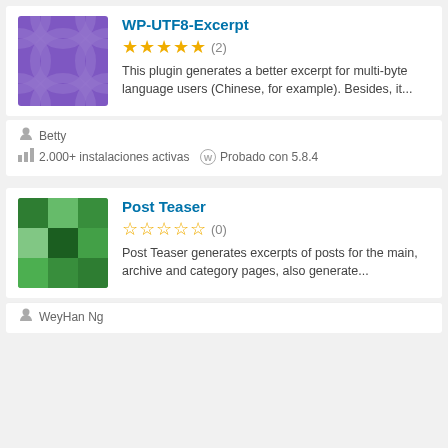[Figure (illustration): Purple WordPress plugin icon with circular pattern for WP-UTF8-Excerpt]
WP-UTF8-Excerpt
★★★★★ (2)
This plugin generates a better excerpt for multi-byte language users (Chinese, for example). Besides, it...
Betty
2.000+ instalaciones activas   Probado con 5.8.4
[Figure (illustration): Green mosaic/pixel pattern WordPress plugin icon for Post Teaser]
Post Teaser
☆☆☆☆☆ (0)
Post Teaser generates excerpts of posts for the main, archive and category pages, also generate...
WeyHan Ng